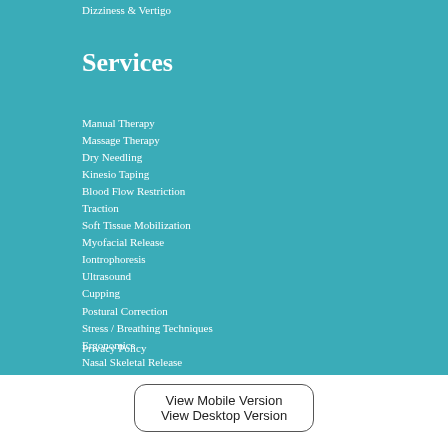Dizziness & Vertigo
Services
Manual Therapy
Massage Therapy
Dry Needling
Kinesio Taping
Blood Flow Restriction
Traction
Soft Tissue Mobilization
Myofacial Release
Iontrophoresis
Ultrasound
Cupping
Postural Correction
Stress / Breathing Techniques
Ergonomics
Nasal Skeletal Release
Diet/ Supplement Education
Privacy Policy
View Mobile Version
View Desktop Version